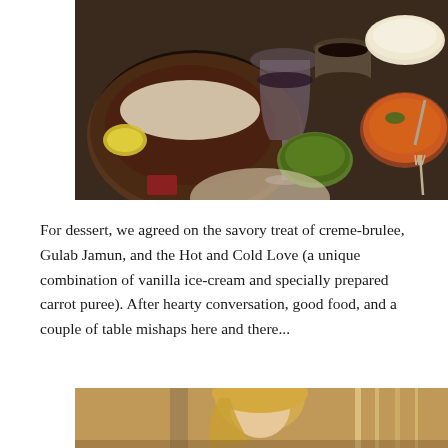[Figure (photo): Overhead view of a restaurant table with Indian food dishes: a sizzler plate with meat and shredded cheese, a wine glass with dark liquid, a small bowl of green chutney, a bowl of curry, a cup of dark sauce, and a plate of white rice. Fork visible at bottom right.]
For dessert, we agreed on the savory treat of creme-brulee, Gulab Jamun, and the Hot and Cold Love (a unique combination of vanilla ice-cream and specially prepared carrot puree). After hearty conversation, good food, and a couple of table mishaps here and there...
[Figure (photo): Partial photo at bottom showing a person with blonde hair in a restaurant setting.]